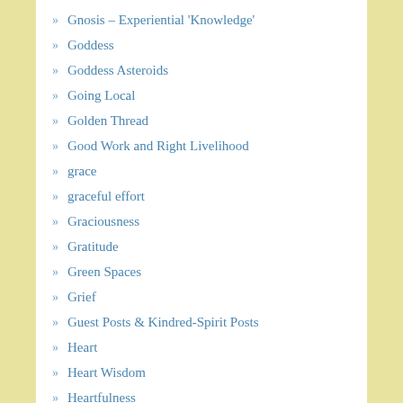Gnosis – Experiential 'Knowledge'
Goddess
Goddess Asteroids
Going Local
Golden Thread
Good Work and Right Livelihood
grace
graceful effort
Graciousness
Gratitude
Green Spaces
Grief
Guest Posts & Kindred-Spirit Posts
Heart
Heart Wisdom
Heartfulness